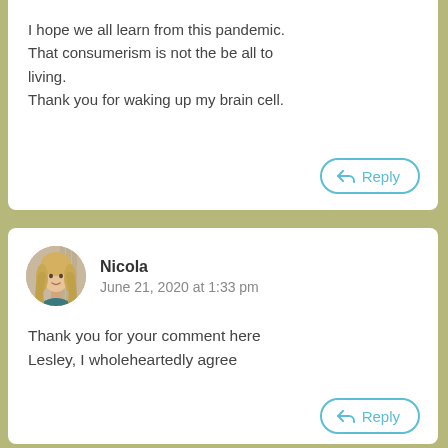I hope we all learn from this pandemic. That consumerism is not the be all to living. Thank you for waking up my brain cell.
Reply
[Figure (photo): Avatar photo of Nicola, a woman with long blonde hair]
Nicola
June 21, 2020 at 1:33 pm
Thank you for your comment here Lesley, I wholeheartedly agree
Reply